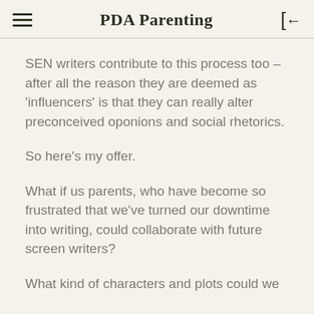PDA Parenting
SEN writers contribute to this process too – after all the reason they are deemed as 'influencers' is that they can really alter preconceived oponions and social rhetorics.
So here's my offer.
What if us parents, who have become so frustrated that we've turned our downtime into writing, could collaborate with future screen writers?
What kind of characters and plots could we